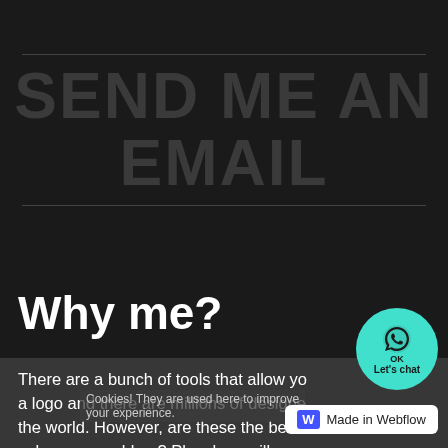SEND ME AN EMAIL
Why me?
There are a bunch of tools that allow yo... a logo and there are millions of designe... the world. However, are these the best c... solve your problem? Plus, how will y...
Cookies! They are used here to improve your experience.
[Figure (logo): WhatsApp contact button: teal circle with WhatsApp icon, OK and Let's chat text]
[Figure (logo): Made in Webflow badge: white rounded rectangle with W logo and text 'Made in Webflow']